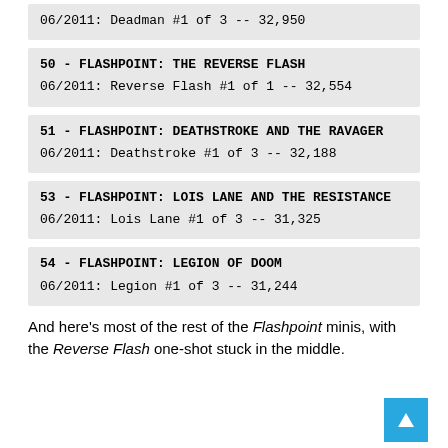06/2011: Deadman #1 of 3 -- 32,950
50 - FLASHPOINT: THE REVERSE FLASH
06/2011: Reverse Flash #1 of 1 -- 32,554
51 - FLASHPOINT: DEATHSTROKE AND THE RAVAGER
06/2011: Deathstroke #1 of 3 -- 32,188
53 - FLASHPOINT: LOIS LANE AND THE RESISTANCE
06/2011: Lois Lane #1 of 3 -- 31,325
54 - FLASHPOINT: LEGION OF DOOM
06/2011: Legion #1 of 3 -- 31,244
And here's most of the rest of the Flashpoint minis, with the Reverse Flash one-shot stuck in the middle.